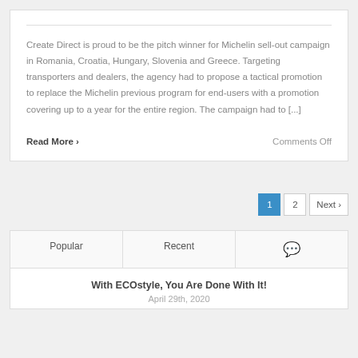Create Direct is proud to be the pitch winner for Michelin sell-out campaign in Romania, Croatia, Hungary, Slovenia and Greece. Targeting transporters and dealers, the agency had to propose a tactical promotion to replace the Michelin previous program for end-users with a promotion covering up to a year for the entire region. The campaign had to [...]
Read More >
Comments Off
1  2  Next >
Popular  Recent  [comments icon]
With ECOstyle, You Are Done With It!
April 29th, 2020